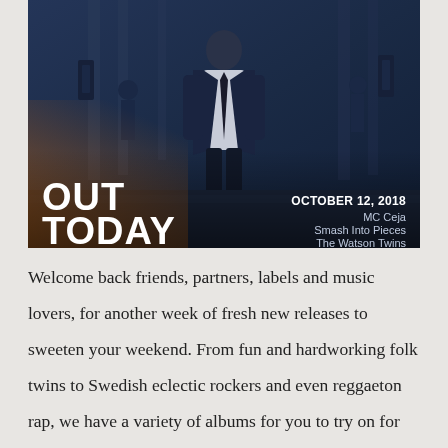[Figure (photo): Dark blue-toned photograph of a man in a white shirt and tie walking away from camera in front of a columned building, with other figures in background. Text overlay: OUT TODAY (bottom left, bold white), OCTOBER 12, 2018 / MC Ceja / Smash Into Pieces / The Watson Twins (bottom right, white). Orange gradient in bottom-left corner.]
Welcome back friends, partners, labels and music lovers, for another week of fresh new releases to sweeten your weekend. From fun and hardworking folk twins to Swedish eclectic rockers and even reggaeton rap, we have a variety of albums for you to try on for size. Read on for more info on our releases hitting your favorite services today.